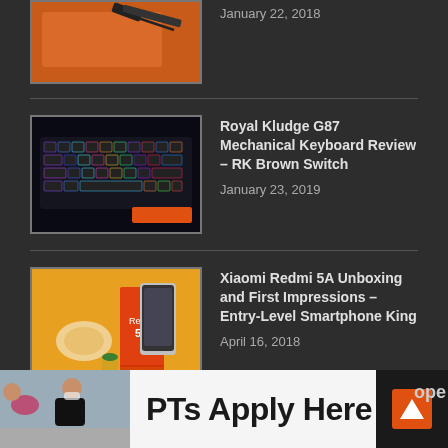[Figure (photo): Partial view of a USB dongle on an orange surface - top of page, cropped]
January 22, 2018
[Figure (photo): RGB mechanical keyboard with colorful backlight on dark background]
Royal Kludge G87 Mechanical Keyboard Review – RK Brown Switch
January 23, 2019
[Figure (photo): Xiaomi Redmi 5A smartphone next to its orange retail box on yellow background]
Xiaomi Redmi 5A Unboxing and First Impressions – Entry-Level Smartphone King
April 16, 2018
[Figure (photo): Physical therapist assisting patient in exercise - ad banner photo]
PTs Apply Here